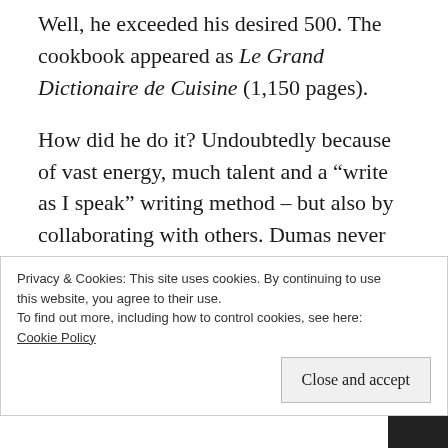Well, he exceeded his desired 500. The cookbook appeared as Le Grand Dictionaire de Cuisine (1,150 pages).
How did he do it? Undoubtedly because of vast energy, much talent and a “write as I speak” writing method – but also by collaborating with others. Dumas never hid that he had a system of collaboration. If this shocks you, it shouldn’t. Most of us like to think that our favourite books
Privacy & Cookies: This site uses cookies. By continuing to use this website, you agree to their use.
To find out more, including how to control cookies, see here:
Cookie Policy
Close and accept